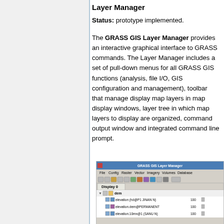Layer Manager
Status: prototype implemented.
The GRASS GIS Layer Manager provides an interactive graphical interface to GRASS commands. The Layer Manager includes a set of pull-down menus for all GRASS GIS functions (analysis, file I/O, GIS configuration and management), toolbar that manage display map layers in map display windows, layer tree in which map layers to display are organized, command output window and integrated command line prompt.
[Figure (screenshot): Screenshot of the GRASS GIS Layer Manager application window showing title bar, menu bar with File, Config, Raster, Vector, Imagery, Volumes, Database menus, toolbar, Display 0 tab, and layer tree with dem folder containing elevation and elevation.dem@PERMANENT layers with opacity values of 100]